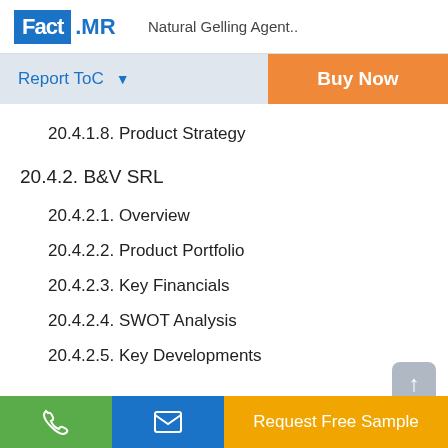Fact.MR  Natural Gelling Agent..
Report ToC
20.4.1.8. Product Strategy
20.4.2. B&V SRL
20.4.2.1. Overview
20.4.2.2. Product Portfolio
20.4.2.3. Key Financials
20.4.2.4. SWOT Analysis
20.4.2.5. Key Developments
Request Free Sample